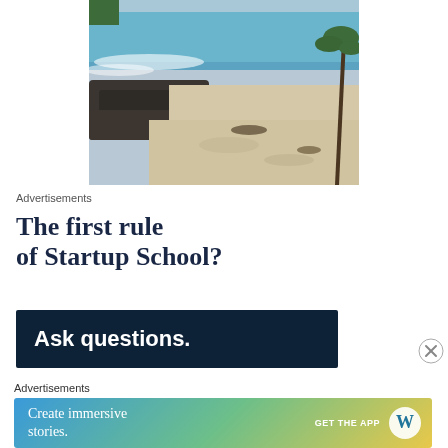[Figure (photo): Aerial/ground view of a tropical beach with white sand, black volcanic rocks, turquoise ocean water, and palm trees in the background]
Advertisements
[Figure (infographic): Advertisement text reading 'The first rule of Startup School?' in bold serif font on white background]
[Figure (infographic): Dark navy blue banner advertisement with white bold text reading 'Ask questions.']
[Figure (illustration): Close button (X in circle) for dismissing advertisement]
Advertisements
[Figure (infographic): WordPress advertisement banner with gradient background (blue to green to yellow) with text 'Create immersive stories.' and 'GET THE APP' with WordPress logo]